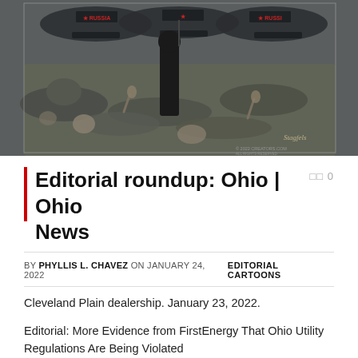[Figure (illustration): Editorial cartoon illustration showing figures with Russia flags and fallen bodies, dark muted tones, © 2022 Creators.com, signed Stagets or similar]
Editorial roundup: Ohio | Ohio News
BY PHYLLIS L. CHAVEZ ON JANUARY 24, 2022    EDITORIAL CARTOONS
Cleveland Plain dealership. January 23, 2022.
Editorial: More Evidence from FirstEnergy That Ohio Utility Regulations Are Being Violated
In the latest development in Ohio's utility regulatory mess, an audit commissioned by the Ohio Public Utilities Commission found